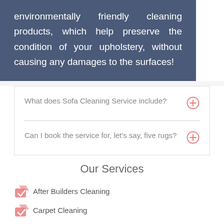environmentally friendly cleaning products, which help preserve the condition of your upholstery, without causing any damages to the surfaces!
What does Sofa Cleaning Service include?
Can I book the service for, let's say, five rugs?
Our Services
After Builders Cleaning
Carpet Cleaning
020 3745 5857